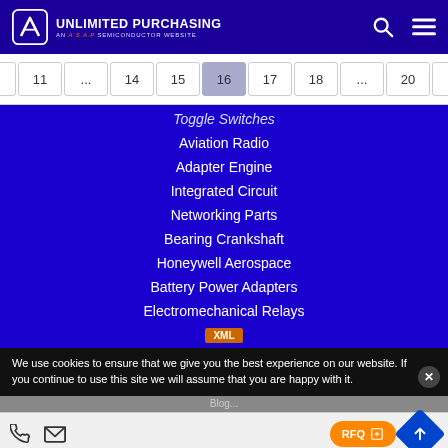UNLIMITED PURCHASING — AN A.S.A.P SEMICONDUCTOR WEBSITE
« 11 ... 14 15 16 17 18 ... 20 »
Toggle Switches
Aviation Radio
Adapter Engine
Integrated Circuit
Networking Parts
Bearing Crankshaft
Honeywell Aerospace
Battery Power Adapters
Electromechanical Relays
XML
We use cookies to ensure that we give you the best experience on our website. If you continue to use this site we will assume that you are happy with it.
RFQ